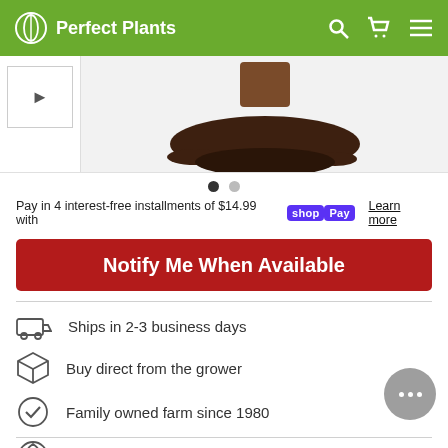Perfect Plants
[Figure (photo): Bottom portion of a potted plant with soil mound on white/light gray background]
Pay in 4 interest-free installments of $14.99 with shop Pay  Learn more
Notify Me When Available
Ships in 2-3 business days
Buy direct from the grower
Family owned farm since 1980
You're good to grow this in Zone 6